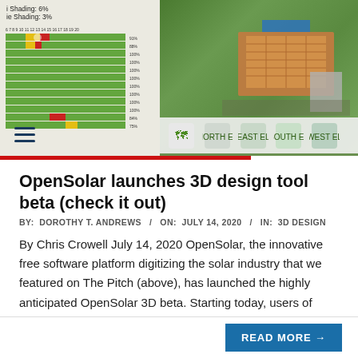[Figure (screenshot): Screenshot of OpenSolar 3D design tool showing a solar shading analysis panel on the left with a green/red grid heatmap, and an aerial satellite view of a property with solar panels on the right. Navigation icons visible at the bottom.]
OpenSolar launches 3D design tool beta (check it out)
BY:  DOROTHY T. ANDREWS   /   ON:  JULY 14, 2020   /   IN:  3D DESIGN
By Chris Crowell July 14, 2020 OpenSolar, the innovative free software platform digitizing the solar industry that we featured on The Pitch (above), has launched the highly anticipated OpenSolar 3D beta. Starting today, users of OpenSolar's software can enable 3D beta mode, which allows vendors in areas with digital surface
READ MORE →